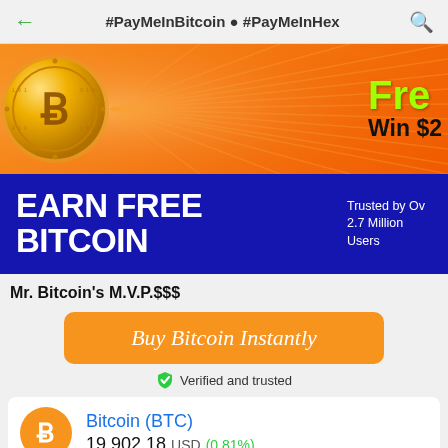#PayMeInBitcoin ● #PayMeInHex
[Figure (illustration): Orange banner with Bitcoin gold coin on left, sunray background, green 'Fre...' text and 'Win $2...' text on right]
[Figure (illustration): Blue banner with 'EARN FREE BITCOIN' in large white bold text and 'Trusted by Over 2.7 Million Users' on right]
Mr. Bitcoin's M.V.P.$$$
Buy Bitcoin Instantly
✓ Verified and trusted
Bitcoin (BTC)
19,902.18 USD (0.81%)